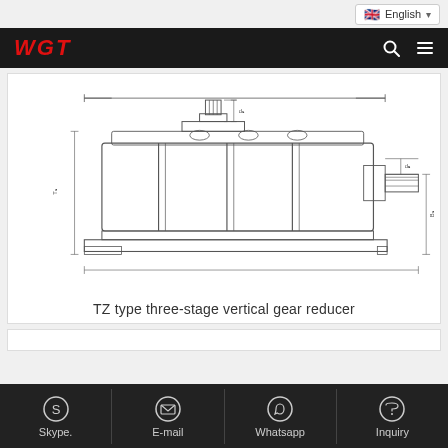English
[Figure (engineering-diagram): Technical drawing / engineering schematic of TZ type three-stage vertical gear reducer, showing front elevation with dimensional annotation lines indicating width, height, and shaft dimensions. The reducer has a horizontal housing with vertical mounting fins/ribs, an input shaft protruding from the top, and an output shaft extending to the right side.]
TZ type three-stage vertical gear reducer
Skype.   E-mail   Whatsapp   Inquiry